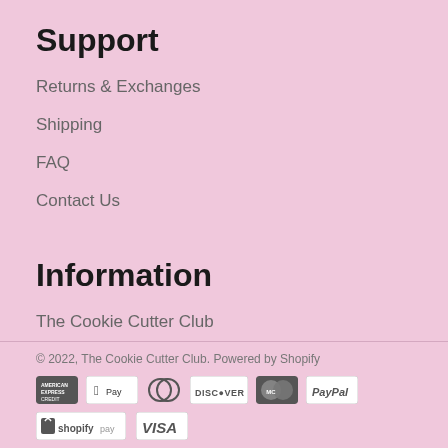Support
Returns & Exchanges
Shipping
FAQ
Contact Us
Information
The Cookie Cutter Club
Cookie Cutter Care
© 2022, The Cookie Cutter Club. Powered by Shopify
[Figure (logo): Payment method icons: American Express, Apple Pay, Diners Club, Discover, MasterCard, PayPal, Shopify Pay, Visa]